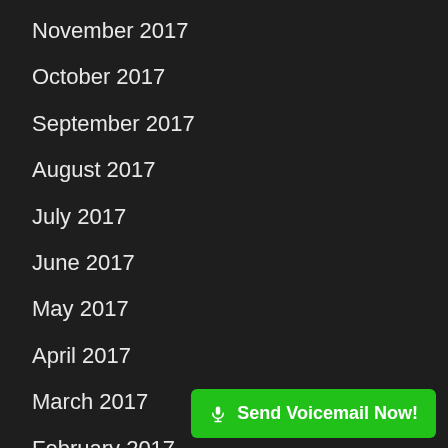November 2017
October 2017
September 2017
August 2017
July 2017
June 2017
May 2017
April 2017
March 2017
February 2017
January 2017
November 2016
October 2016
Send Voicemail Now!